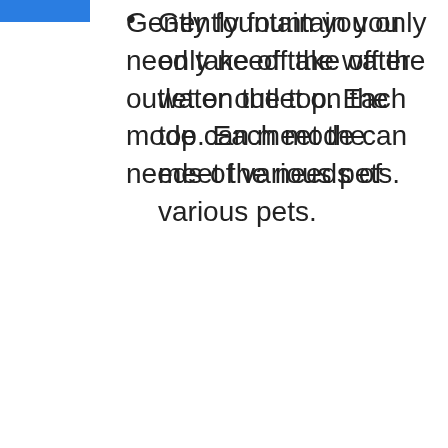Gently fountain you only need take off the water outlet on the top. Each mode can meet the needs of various pets.
Easy to Assemble and Use - Entire filter is made of water outlet, upper cover, floating filter sponge and sink, each fountain comes with a filter, and our suggested replacement period is about 4 weeks. The fountain is designed to be durable and easy to clean, you can easily assemble it, only takes a few minutes.